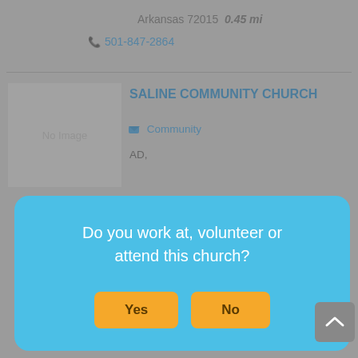Arkansas 72015  0.45 mi
501-847-2864
SALINE COMMUNITY CHURCH
Community
[Figure (screenshot): Modal dialog overlay with sky-blue background asking 'Do you work at, volunteer or attend this church?' with Yes and No buttons in orange/yellow]
Bible
21941 INTERSTATE 30, # 8, Bryant, Arkansas 72022  0.63 mi
501-847-7588